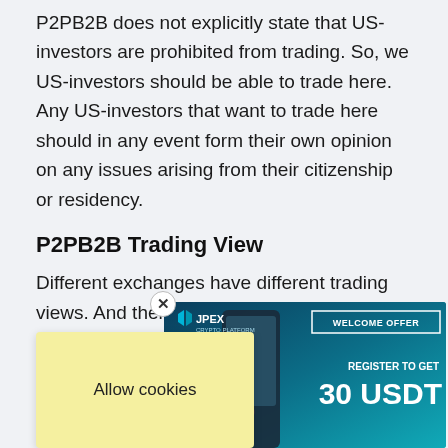P2PB2B does not explicitly state that US-investors are prohibited from trading. So, we US-investors should be able to trade here. Any US-investors that want to trade here should in any event form their own opinion on any issues arising from their citizenship or residency.
P2PB2B Trading View
Different exchanges have different trading views. And there is no “this overview is the best”-view. You should yourself determine which trading view that su... you the best. What the views normally have in... ...r b... ...ce c... ...They p... ...t buy and sell boxes. Before you
[Figure (infographic): JPEX crypto platform advertisement banner with welcome offer: Register to get 30 USDT]
[Figure (infographic): Allow cookies banner in yellow/cream background]